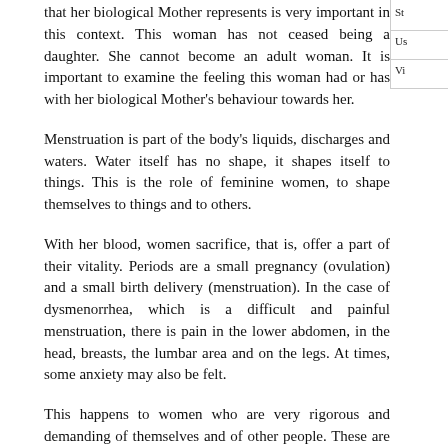that her biological Mother represents is very important in this context. This woman has not ceased being a daughter. She cannot become an adult woman. It is important to examine the feeling this woman had or has with her biological Mother's behaviour towards her.
Menstruation is part of the body's liquids, discharges and waters. Water itself has no shape, it shapes itself to things. This is the role of feminine women, to shape themselves to things and to others.
With her blood, women sacrifice, that is, offer a part of their vitality. Periods are a small pregnancy (ovulation) and a small birth delivery (menstruation). In the case of dysmenorrhea, which is a difficult and painful menstruation, there is pain in the lower abdomen, in the head, breasts, the lumbar area and on the legs. At times, some anxiety may also be felt.
This happens to women who are very rigorous and demanding of themselves and of other people. These are women who find it difficult to be feminine and to live their femininity. They have a non-conscious blockage regarding themselves as women or with the feminine from health of their land. The women and
Us
Vi